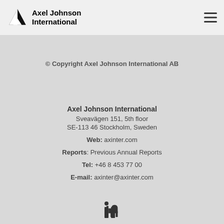Axel Johnson International
© Copyright Axel Johnson International AB
Axel Johnson International
Sveavägen 151, 5th floor
SE-113 46 Stockholm, Sweden

Web: axinter.com
Reports: Previous Annual Reports
Tel: +46 8 453 77 00
E-mail: axinter@axinter.com
[Figure (logo): LinkedIn logo icon]